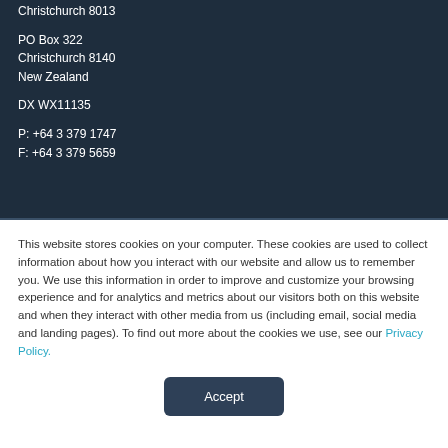Christchurch 8013
PO Box 322
Christchurch 8140
New Zealand
DX WX11135
P: +64 3 379 1747
F: +64 3 379 5659
This website stores cookies on your computer. These cookies are used to collect information about how you interact with our website and allow us to remember you. We use this information in order to improve and customize your browsing experience and for analytics and metrics about our visitors both on this website and when they interact with other media from us (including email, social media and landing pages). To find out more about the cookies we use, see our Privacy Policy.
Accept